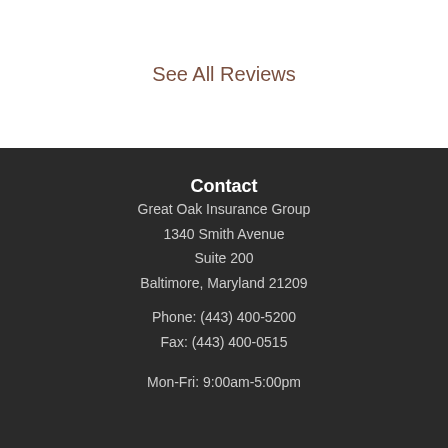See All Reviews
Contact
Great Oak Insurance Group
1340 Smith Avenue
Suite 200
Baltimore, Maryland 21209
Phone: (443) 400-5200
Fax: (443) 400-0515
Mon-Fri: 9:00am-5:00pm